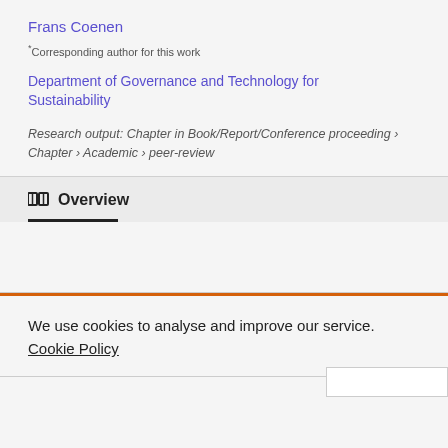Frans Coenen
* Corresponding author for this work
Department of Governance and Technology for Sustainability
Research output: Chapter in Book/Report/Conference proceeding › Chapter › Academic › peer-review
Overview
We use cookies to analyse and improve our service. Cookie Policy